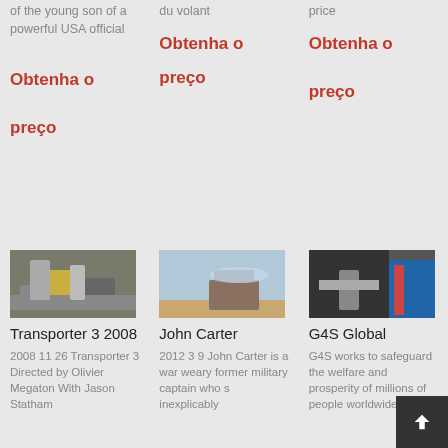of the young son of a powerful USA official
du volant
price
Obtenha o
Obtenha o
preço
preço
Obtenha o
preço
[Figure (photo): Industrial machinery or mining equipment photo]
Transporter 3 2008
2008 11 26 Transporter 3 Directed by Olivier Megaton With Jason Statham
[Figure (photo): Outdoor machinery or construction equipment photo]
John Carter
2012 3 9 John Carter is a war weary former military captain who s inexplicably
[Figure (photo): Industrial conveyor or machinery photo]
G4S Global
G4S works to safeguard the welfare and prosperity of millions of people worldwide